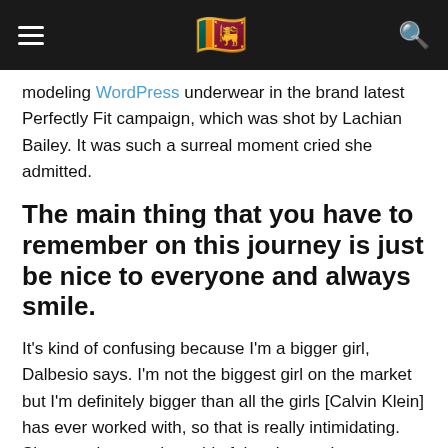[hamburger menu] [Sri Lanka flag emoji] [search icon]
modeling WordPress underwear in the brand latest Perfectly Fit campaign, which was shot by Lachian Bailey. It was such a surreal moment cried she admitted.
The main thing that you have to remember on this journey is just be nice to everyone and always smile.
It's kind of confusing because I'm a bigger girl, Dalbesio says. I'm not the biggest girl on the market but I'm definitely bigger than all the girls [Calvin Klein] has ever worked with, so that is really intimidating. She wasn't sure, she said of the shoot, what was expected from her in terms of her size or shape.